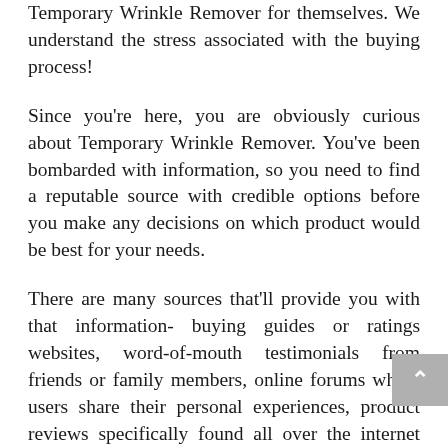Temporary Wrinkle Remover for themselves. We understand the stress associated with the buying process!
Since you're here, you are obviously curious about Temporary Wrinkle Remover. You've been bombarded with information, so you need to find a reputable source with credible options before you make any decisions on which product would be best for your needs.
There are many sources that'll provide you with that information- buying guides or ratings websites, word-of-mouth testimonials from friends or family members, online forums where users share their personal experiences, product reviews specifically found all over the internet and YouTube channels. Only thorough research will ensure that you get the right